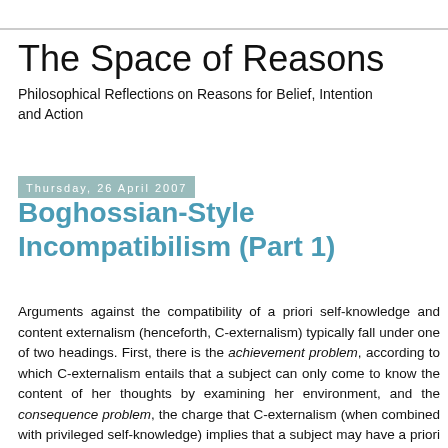The Space of Reasons
Philosophical Reflections on Reasons for Belief, Intention and Action
Thursday, 26 April 2007
Boghossian-Style Incompatibilism (Part 1)
Arguments against the compatibility of a priori self-knowledge and content externalism (henceforth, C-externalism) typically fall under one of two headings. First, there is the achievement problem, according to which C-externalism entails that a subject can only come to know the content of her thoughts by examining her environment, and the consequence problem, the charge that C-externalism (when combined with privileged self-knowledge) implies that a subject may have a priori knowledge of empirical facts about her environment.